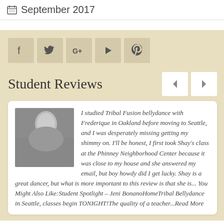September 2017
[Figure (screenshot): Social media icon buttons: Facebook, Twitter, Google+, YouTube, Pinterest]
Student Reviews
[Figure (photo): Black and white photo of a woman]
I studied Tribal Fusion bellydance with Frederique in Oakland before moving to Seattle, and I was desperately missing getting my shimmy on. I'll be honest, I first took Shay's class at the Phinney Neighborhood Center because it was close to my house and she answered my email, but boy howdy did I get lucky. Shay is a great dancer, but what is more important to this review is that she is... You Might Also Like:Student Spotlight – Jeni BonanoHomeTribal Bellydance in Seattle, classes begin TONIGHT!The quality of a teacher...Read More